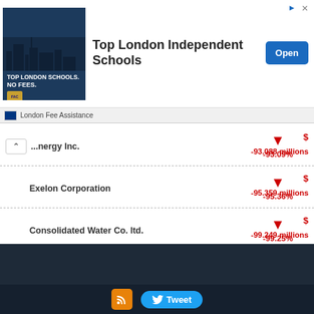[Figure (screenshot): Advertisement banner for Top London Independent Schools by London Fee Assistance with an Open button]
| Company | Change % | Value (millions) |
| --- | --- | --- |
| ...nergy Inc. | -93.09% | $  -93.088 millions |
| Exelon Corporation | -95.36% | $  -95.359 millions |
| Consolidated Water Co. ltd. | -99.25% | $  -99.249 millions |
Tweet